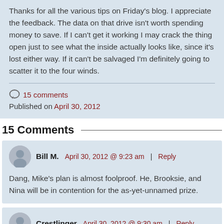Thanks for all the various tips on Friday's blog. I appreciate the feedback. The data on that drive isn't worth spending money to save. If I can't get it working I may crack the thing open just to see what the inside actually looks like, since it's lost either way. If it can't be salvaged I'm definitely going to scatter it to the four winds.
15 comments
Published on April 30, 2012
15 Comments
Bill M.   April 30, 2012 @ 9:23 am | Reply
Dang, Mike's plan is almost foolproof. He, Brooksie, and Nina will be in contention for the as-yet-unnamed prize.
Crestlinger   April 30, 2012 @ 9:30 am | Reply